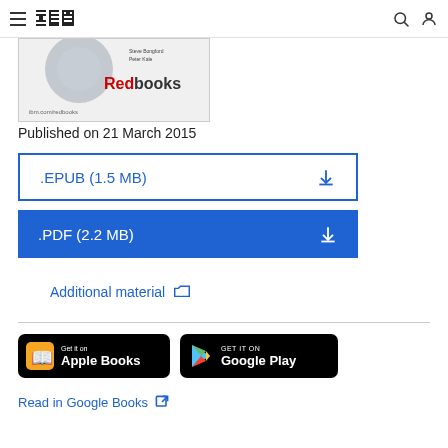IBM Redbooks navigation bar with hamburger menu, IBM logo, search icon, and user icon
[Figure (photo): IBM Redbooks book cover thumbnail showing circular logo and red Redbooks branding]
Published on 21 March 2015
.EPUB (1.5 MB)
.PDF (2.2 MB)
Additional material
[Figure (logo): Get it on Apple Books badge]
[Figure (logo): Get it on Google Play badge]
Read in Google Books